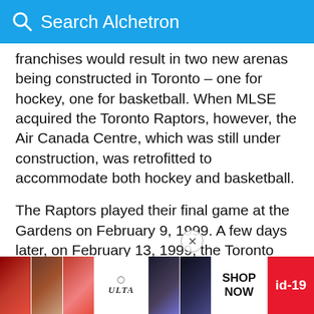Search Alchetron
franchises would result in two new arenas being constructed in Toronto – one for hockey, one for basketball. When MLSE acquired the Toronto Raptors, however, the Air Canada Centre, which was still under construction, was retrofitted to accommodate both hockey and basketball.
The Raptors played their final game at the Gardens on February 9, 1999. A few days later, on February 13, 1999, the Toronto Maple Leafs ended a 67-year tradition when they played their last game at Maple Leaf Gardens, suffering a 6–2 loss to the Chicago Blackhawks. Former Leaf Doug Gilmour scored a fluke g... Bob R...
[Figure (screenshot): Advertisement banner at the bottom showing cosmetics/beauty images, ULTA logo, SHOP NOW text, and id-19 label]